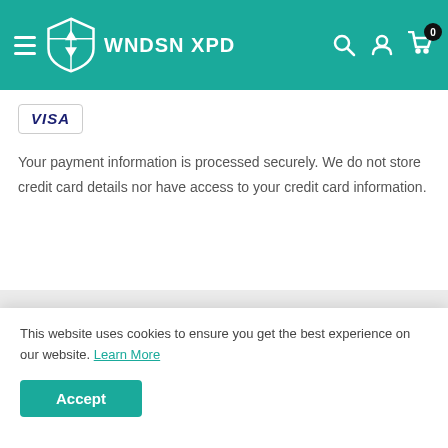WNDSN XPD
[Figure (logo): VISA payment logo badge]
Your payment information is processed securely. We do not store credit card details nor have access to your credit card information.
You may also like
[Figure (photo): Product photo cards in 'You may also like' section]
This website uses cookies to ensure you get the best experience on our website. Learn More
Accept